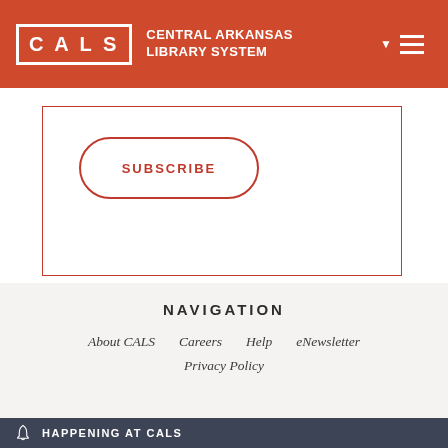CALS - CENTRAL ARKANSAS LIBRARY SYSTEM
SUBSCRIBE
NAVIGATION
About CALS
Careers
Help
eNewsletter
Privacy Policy
HAPPENING AT CALS